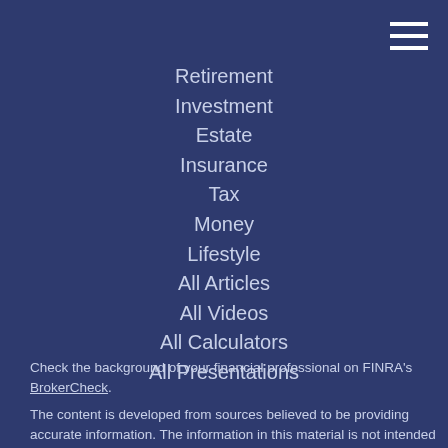Retirement
Investment
Estate
Insurance
Tax
Money
Lifestyle
All Articles
All Videos
All Calculators
All Presentations
Check the background of your financial professional on FINRA's BrokerCheck.
The content is developed from sources believed to be providing accurate information. The information in this material is not intended as tax or legal advice. Please consult legal or tax professionals for specific information regarding your individual situation. Some of this material was developed and produced by FMG Suite to provide information on a topic that may be of interest. FMG Suite is not affiliated with the named